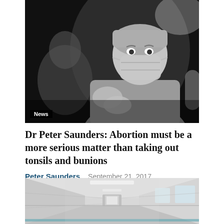[Figure (photo): Black and white photo of a surgeon in scrubs, surgical cap and face mask looking at camera in an operating room; another medical professional visible in background.]
Dr Peter Saunders: Abortion must be a more serious matter than taking out tonsils and bunions
Peter Saunders   September 21, 2017
[Figure (photo): Black and white photo of a long hospital corridor with perspective leading to distant doorway, windows on right side.]